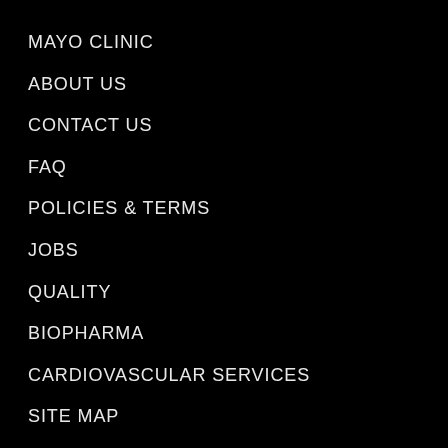MAYO CLINIC
ABOUT US
CONTACT US
FAQ
POLICIES & TERMS
JOBS
QUALITY
BIOPHARMA
CARDIOVASCULAR SERVICES
SITE MAP